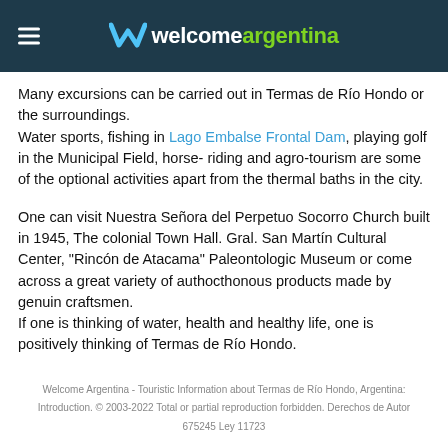welcomeargentina
Many excursions can be carried out in Termas de Río Hondo or the surroundings.
Water sports, fishing in Lago Embalse Frontal Dam, playing golf in the Municipal Field, horse- riding and agro-tourism are some of the optional activities apart from the thermal baths in the city.
One can visit Nuestra Señora del Perpetuo Socorro Church built in 1945, The colonial Town Hall. Gral. San Martín Cultural Center, "Rincón de Atacama" Paleontologic Museum or come across a great variety of authocthonous products made by genuin craftsmen.
If one is thinking of water, health and healthy life, one is positively thinking of Termas de Río Hondo.
Welcome Argentina - Touristic Information about Termas de Río Hondo, Argentina: Introduction. © 2003-2022 Total or partial reproduction forbidden. Derechos de Autor 675245 Ley 11723